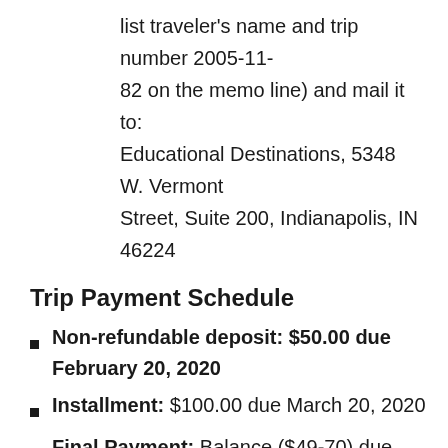list traveler's name and trip number 2005-11-82 on the memo line) and mail it to: Educational Destinations, 5348 W. Vermont Street, Suite 200, Indianapolis, IN 46224
Trip Payment Schedule
Non-refundable deposit: $50.00 due February 20, 2020
Installment: $100.00 due March 20, 2020
Final Payment: Balance ($49-70) due April 20, 2020
Please note: any funds earned by fundraising opportunities to offset trip costs will be accounted for in the Final Balance due